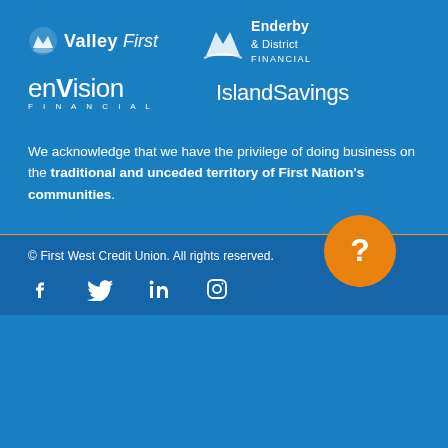[Figure (logo): Valley First logo with mountain icon and italic 'First' wordmark]
[Figure (logo): Enderby & District Financial logo with mountain icon]
[Figure (logo): enVision Financial logo]
[Figure (logo): IslandSavings logo]
We acknowledge that we have the privilege of doing business on the traditional and unceded territory of First Nation's communities.
© First West Credit Union. All rights reserved.
[Figure (infographic): Social media icons: Facebook, Twitter, LinkedIn, Instagram and orange help/chat button with question mark]